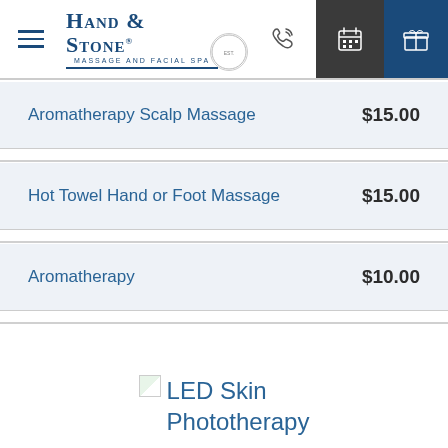[Figure (logo): Hand & Stone Massage and Facial Spa logo with navigation icons]
Aromatherapy Scalp Massage $15.00
Hot Towel Hand or Foot Massage $15.00
Aromatherapy $10.00
LED Skin Phototherapy